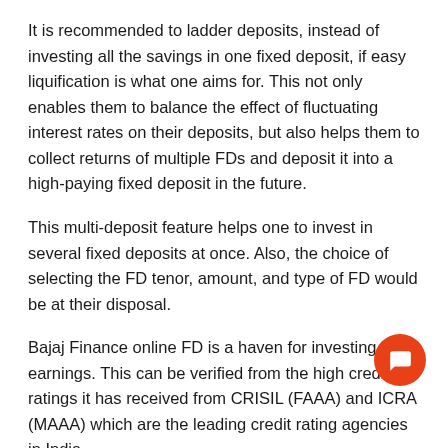It is recommended to ladder deposits, instead of investing all the savings in one fixed deposit, if easy liquification is what one aims for. This not only enables them to balance the effect of fluctuating interest rates on their deposits, but also helps them to collect returns of multiple FDs and deposit it into a high-paying fixed deposit in the future.
This multi-deposit feature helps one to invest in several fixed deposits at once. Also, the choice of selecting the FD tenor, amount, and type of FD would be at their disposal.
Bajaj Finance online FD is a haven for investing earnings. This can be verified from the high credit ratings it has received from CRISIL (FAAA) and ICRA (MAAA) which are the leading credit rating agencies in India.
About Bajaj Finance Limited